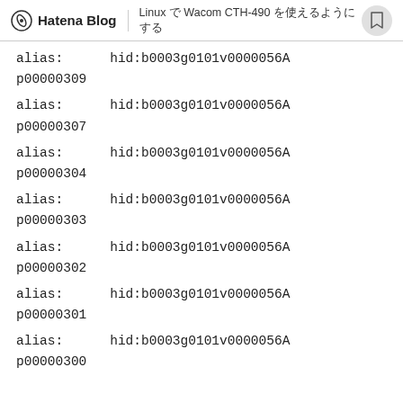Hatena Blog | Linux で Wacom CTH-490 を使えるようにする
alias:    hid:b0003g0101v0000056A
p00000309
alias:    hid:b0003g0101v0000056A
p00000307
alias:    hid:b0003g0101v0000056A
p00000304
alias:    hid:b0003g0101v0000056A
p00000303
alias:    hid:b0003g0101v0000056A
p00000302
alias:    hid:b0003g0101v0000056A
p00000301
alias:    hid:b0003g0101v0000056A
p00000300